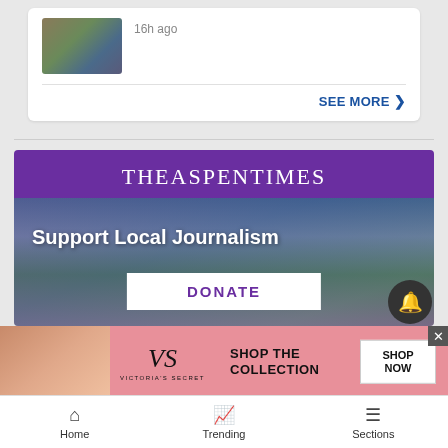[Figure (photo): Thumbnail photo of a person outdoors]
16h ago
SEE MORE ❯
[Figure (infographic): The Aspen Times banner with 'Support Local Journalism' text and DONATE button over a mountain/forest landscape photo]
[Figure (infographic): Victoria's Secret advertisement banner: 'SHOP THE COLLECTION' with 'SHOP NOW' button]
Home
Trending
Sections